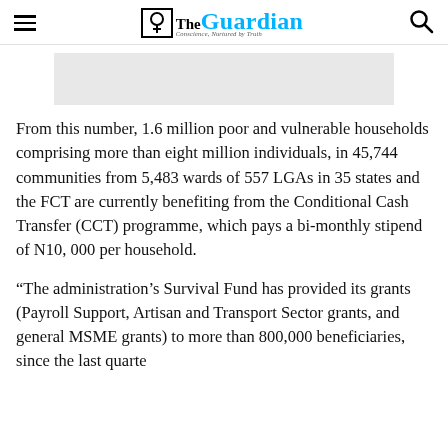The Guardian — Conscience, Nurtured by Truth
[Figure (other): Advertisement placeholder banner (grey rectangle)]
From this number, 1.6 million poor and vulnerable households comprising more than eight million individuals, in 45,744 communities from 5,483 wards of 557 LGAs in 35 states and the FCT are currently benefiting from the Conditional Cash Transfer (CCT) programme, which pays a bi-monthly stipend of N10, 000 per household.
“The administration’s Survival Fund has provided its grants (Payroll Support, Artisan and Transport Sector grants, and general MSME grants) to more than 800,000 beneficiaries, since the last quarte